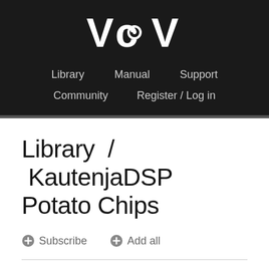[Figure (logo): VCV logo in large white bold text on dark background]
Library   Manual   Support   Community   Register / Log in
Library / KautenjaDSP Potato Chips
+ Subscribe   + Add all
16 modules in plugin